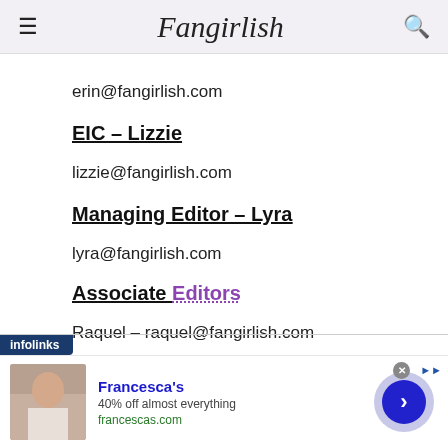Fangirlish
erin@fangirlish.com
EIC – Lizzie
lizzie@fangirlish.com
Managing Editor – Lyra
lyra@fangirlish.com
Associate Editors
Raquel – raquel@fangirlish.com
Jade – jade@fangirlish.com
[Figure (screenshot): Infolinks advertisement banner for Francesca's: 40% off almost everything, francescas.com]